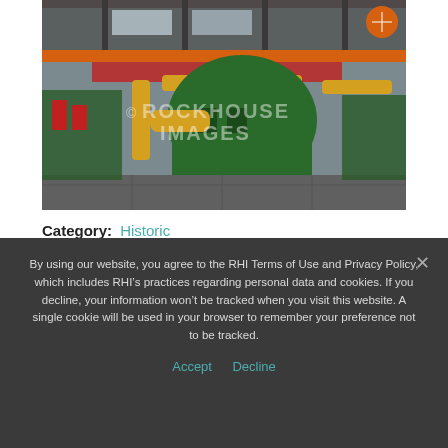[Figure (photo): Interior of an industrial factory or power plant showing large green machinery/generators on a platform, with yellow pipes and overhead cranes. A watermark reading 'ROCKHOUSE IMAGES' is visible on the photo.]
Category: Historic
Lifestyle
By using our website, you agree to the RHI Terms of Use and Privacy Policy, which includes RHI's practices regarding personal data and cookies. If you decline, your information won't be tracked when you visit this website. A single cookie will be used in your browser to remember your preference not to be tracked.
Accept   Decline